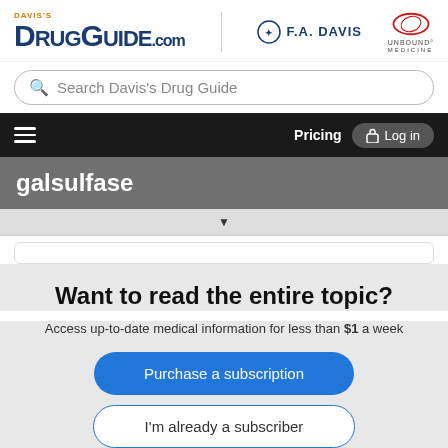[Figure (logo): Davis's DrugGuide.com header logo with F.A. Davis and Unbound Medicine logos]
Search Davis's Drug Guide
Pricing  Log in
galsulfase
Want to read the entire topic?
Access up-to-date medical information for less than $1 a week
Purchase a subscription
I'm already a subscriber
Browse sample topics